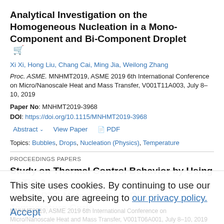Analytical Investigation on the Homogeneous Nucleation in a Mono-Component and Bi-Component Droplet 🛒
Xi Xi, Hong Liu, Chang Cai, Ming Jia, Weilong Zhang
Proc. ASME. MNHMT2019, ASME 2019 6th International Conference on Micro/Nanoscale Heat and Mass Transfer, V001T11A003, July 8–10, 2019
Paper No: MNHMT2019-3968
DOI: https://doi.org/10.1115/MNHMT2019-3968
Abstract ∨   View Paper   📄 PDF
Topics: Bubbles, Drops, Nucleation (Physics), Temperature
PROCEEDINGS PAPERS
Study on Thermal Control Behavior by Using BaTiO 3 - Based PTC Materials With Room Temperature Curie
This site uses cookies. By continuing to use our website, you are agreeing to our privacy policy. Accept
MNHMT2019, ASME 2019 6th International Conference on Micro/Nanoscale Heat and Mass Transfer, V001T06A001, July 8–10, 2019